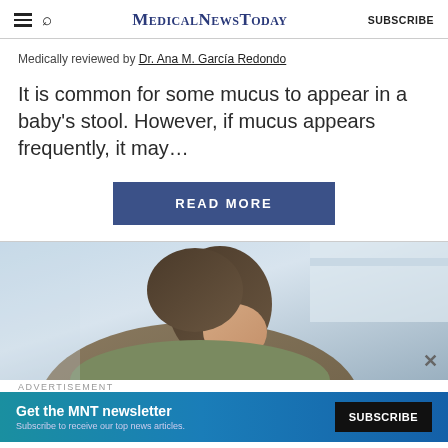MedicalNewsToday  SUBSCRIBE
Medically reviewed by Dr. Ana M. García Redondo
It is common for some mucus to appear in a baby's stool. However, if mucus appears frequently, it may...
READ MORE
[Figure (photo): A person looking down, photographed from above, in a clinical or domestic setting with soft light.]
ADVERTISEMENT
Get the MNT newsletter  Subscribe to receive our top news articles.  SUBSCRIBE